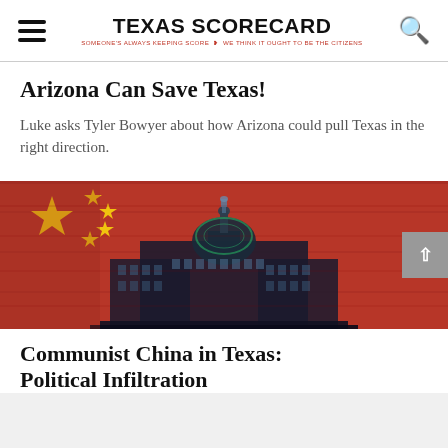TEXAS SCORECARD — SOMEONE'S ALWAYS KEEPING SCORE — WE THINK IT OUGHT TO BE THE CITIZENS
Arizona Can Save Texas!
Luke asks Tyler Bowyer about how Arizona could pull Texas in the right direction.
[Figure (photo): Texas State Capitol building overlaid on a Chinese flag with red background and yellow stars]
Communist China in Texas: Political Infiltration